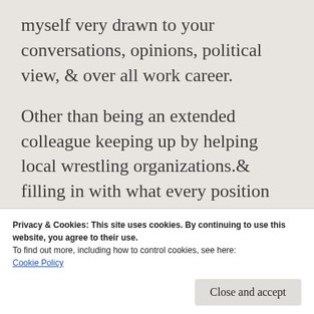myself very drawn to your conversations, opinions, political view, & over all work career.
Other than being an extended colleague keeping up by helping local wrestling organizations.& filling in with what every position they need help with. Now I know why you weren't on the national scene for long & am glad you considered your over all health more important that a career that
takes a very strong individual to publish
Privacy & Cookies: This site uses cookies. By continuing to use this website, you agree to their use.
To find out more, including how to control cookies, see here:
Cookie Policy
Close and accept